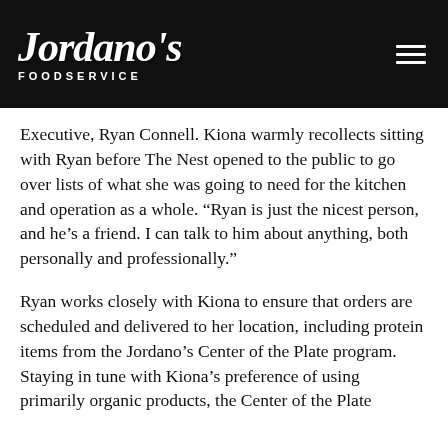[Figure (logo): Jordano's Foodservice logo in white italic script on black background header bar, with hamburger menu icon on the right]
Executive, Ryan Connell. Kiona warmly recollects sitting with Ryan before The Nest opened to the public to go over lists of what she was going to need for the kitchen and operation as a whole. “Ryan is just the nicest person, and he’s a friend. I can talk to him about anything, both personally and professionally.”
Ryan works closely with Kiona to ensure that orders are scheduled and delivered to her location, including protein items from the Jordano’s Center of the Plate program. Staying in tune with Kiona’s preference of using primarily organic products, the Center of the Plate